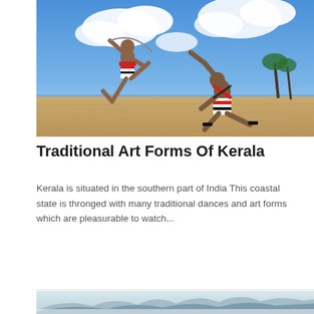[Figure (photo): Two men practicing Kalaripayattu (Kerala martial art) on a sandy beach with a blue sky and clouds in the background. They wear white shorts with red and black bands.]
Traditional Art Forms Of Kerala
Kerala is situated in the southern part of India This coastal state is thronged with many traditional dances and art forms which are pleasurable to watch...
READ MORE
PAY ONLINE
[Figure (photo): A misty mountain landscape with blue-grey hills receding into fog, taken in Kerala (likely Munnar or similar hill station).]